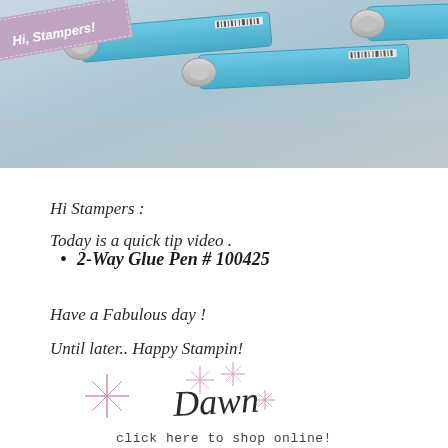[Figure (photo): Photo of blue marker/glue pens lying horizontally with caps visible, with a pink ribbon banner in the top left corner reading 'Hi, Stampers!']
Hi Stampers :
Today is a quick tip video .
2-Way Glue Pen # 100425
Have a Fabulous day !
Until later.. Happy Stampin!
[Figure (illustration): Decorative signature area with pink sparkle/star decorations and a handwritten-style signature reading 'Dawn']
click here to shop online!